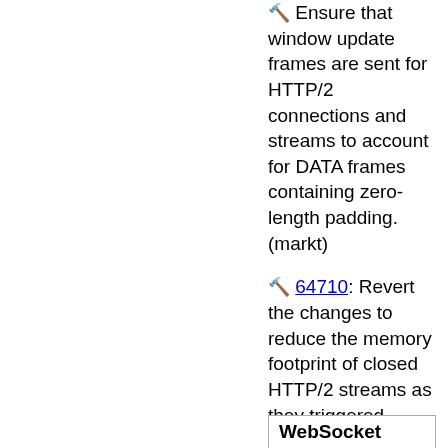🔨 Ensure that window update frames are sent for HTTP/2 connections and streams to account for DATA frames containing zero-length padding. (markt)
🔨 64710: Revert the changes to reduce the memory footprint of closed HTTP/2 streams as they triggered multiple regressions in the form of NullPointerExceptions. (markt)
🔨 Ensure that the HTTP/2 overhead protection check is performed after each HTTP/2 frame is processed. (markt)
WebSocket